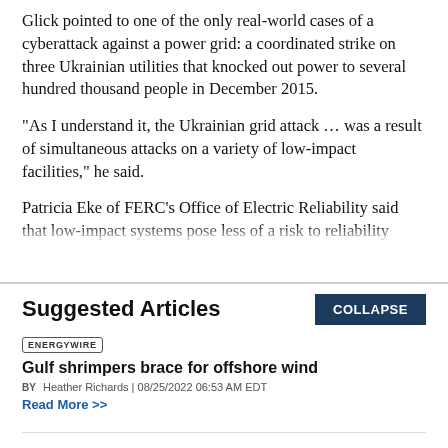Glick pointed to one of the only real-world cases of a cyberattack against a power grid: a coordinated strike on three Ukrainian utilities that knocked out power to several hundred thousand people in December 2015.
"As I understand it, the Ukrainian grid attack … was a result of simultaneous attacks on a variety of low-impact facilities," he said.
Patricia Eke of FERC's Office of Electric Reliability said that low-impact systems pose less of a risk to reliability
Suggested Articles
ENERGYWIRE | Gulf shrimpers brace for offshore wind | BY Heather Richards | 08/25/2022 06:53 AM EDT | Read More >>
ENERGYWIRE | Is NEPA a winning strategy to fight oil and gas?